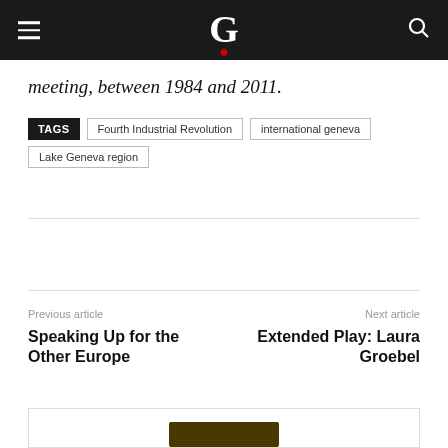G
meeting, between 1984 and 2011.
TAGS  Fourth Industrial Revolution  international geneva  Lake Geneva region
Previous article
Speaking Up for the Other Europe
Next article
Extended Play: Laura Groebel
[Figure (photo): Partially visible image at bottom of page]